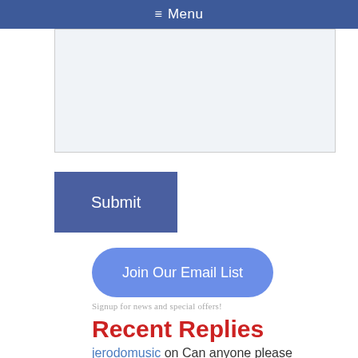☰ Menu
[Figure (screenshot): Textarea form input box with light gray background]
Submit
Join Our Email List
Signup for news and special offers!
Recent Replies
jerodomusic on Can anyone please